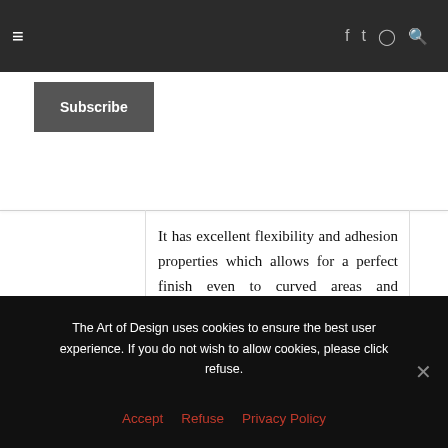≡   f  t  ⊙  🔍
Subscribe
It has excellent flexibility and adhesion properties which allows for a perfect finish even to curved areas and complex shapes. Interior Film is fire rated, easy to clean and maintain, is hardwearing and remains stable when exposed to heat, humidity or low temperatures.
Air free technology enables Interior
The Art of Design uses cookies to ensure the best user experience. If you do not wish to allow cookies, please click refuse.
Accept   Refuse   Privacy Policy